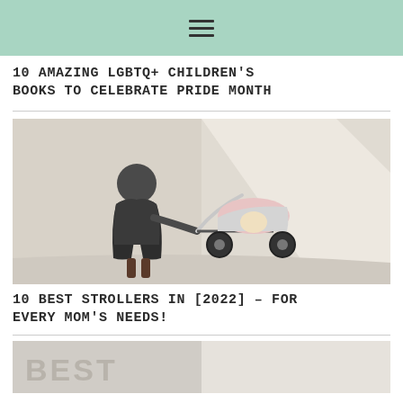Navigation menu
10 AMAZING LGBTQ+ CHILDREN'S BOOKS TO CELEBRATE PRIDE MONTH
[Figure (photo): A woman in a dark floral dress pushing a baby stroller with a child sitting in it, photographed against a light wall background.]
10 BEST STROLLERS IN [2022] – FOR EVERY MOM'S NEEDS!
[Figure (photo): Partial view of an article thumbnail showing the word BEST in large grey letters.]